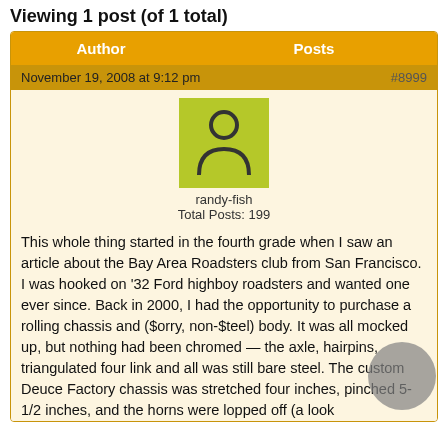Viewing 1 post (of 1 total)
| Author | Posts |
| --- | --- |
| November 19, 2008 at 9:12 pm | #8999 |
| randy-fish
Total Posts: 199 | This whole thing started in the fourth grade when I saw an article about the Bay Area Roadsters club from San Francisco. I was hooked on '32 Ford highboy roadsters and wanted one ever since. Back in 2000, I had the opportunity to purchase a rolling chassis and ($orry, non-$teel) body. It was all mocked up, but nothing had been chromed — the axle, hairpins, triangulated four link and all was still bare steel. The custom Deuce Factory chassis was stretched four inches, pinched 5-1/2 inches, and the horns were lopped off (a look |